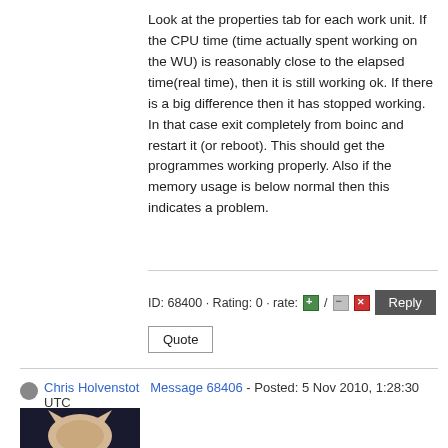Look at the properties tab for each work unit. If the CPU time (time actually spent working on the WU) is reasonably close to the elapsed time(real time), then it is still working ok. If there is a big difference then it has stopped working. In that case exit completely from boinc and restart it (or reboot). This should get the programmes working properly. Also if the memory usage is below normal then this indicates a problem.
ID: 68400 · Rating: 0 · rate: [+] / [-] [x]  Reply  Quote
Chris Holvenstot  Message 68406 - Posted: 5 Nov 2010, 1:28:30 UTC